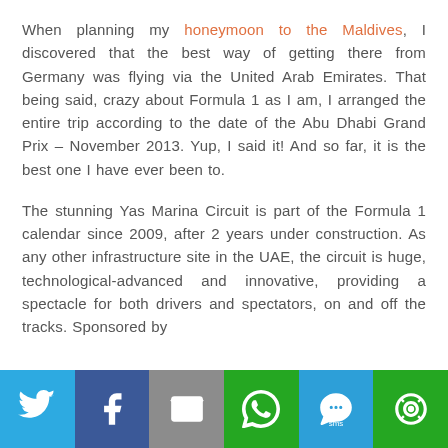When planning my honeymoon to the Maldives, I discovered that the best way of getting there from Germany was flying via the United Arab Emirates. That being said, crazy about Formula 1 as I am, I arranged the entire trip according to the date of the Abu Dhabi Grand Prix – November 2013. Yup, I said it! And so far, it is the best one I have ever been to.
The stunning Yas Marina Circuit is part of the Formula 1 calendar since 2009, after 2 years under construction. As any other infrastructure site in the UAE, the circuit is huge, technological-advanced and innovative, providing a spectacle for both drivers and spectators, on and off the tracks. Sponsored by
[Figure (infographic): Social media share bar with six buttons: Twitter (blue), Facebook (dark blue), Email (grey), WhatsApp (green), SMS (blue), More (green)]